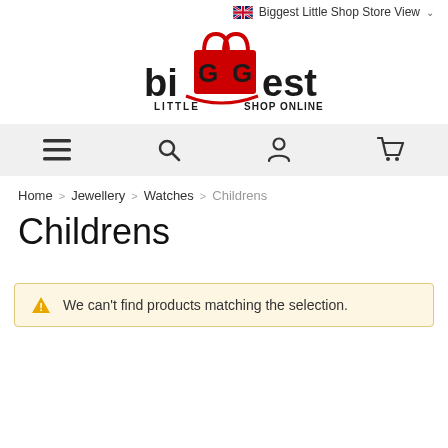Biggest Little Shop Store View
[Figure (logo): Biggest Little Shop Online logo with red shopping bags and bold black text]
[Figure (screenshot): Navigation bar with hamburger menu, search, account, and cart icons]
Home > Jewellery > Watches > Childrens
Childrens
We can't find products matching the selection.